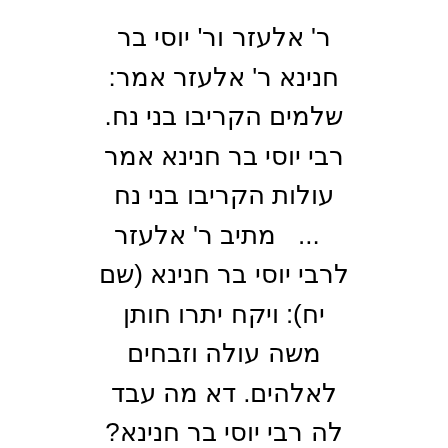ר' אלעזר ור' יוסי בר חנינא ר' אלעזר אמר: שלמים הקריבו בני נח. רבי יוסי בר חנינא אמר עולות הקריבו בני נח ... מתיב ר' אלעזר לרבי יוסי בר חנינא (שם יח): ויקח יתרו חותן משה עולה וזבחים לאלהים. דא מה עבד לה רבי יוסי בר חנינא? עבד כמאן דאמר לאחר מתן תורה נתחייבו יתרו